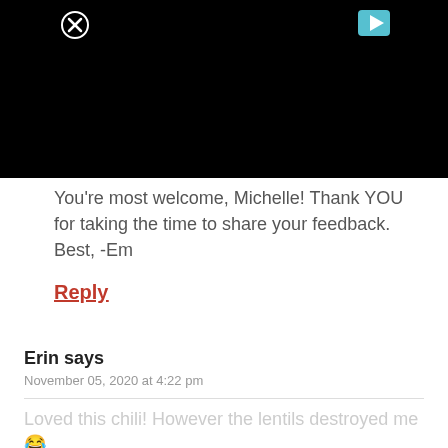[Figure (screenshot): Black video player area with a close (X) button in the upper left and a play button (triangle) in the upper right]
You’re most welcome, Michelle! Thank YOU for taking the time to share your feedback. Best, -Em
Reply
Erin says
November 05, 2020 at 4:22 pm
Loved this chili! However the lentils destroyed me 😂